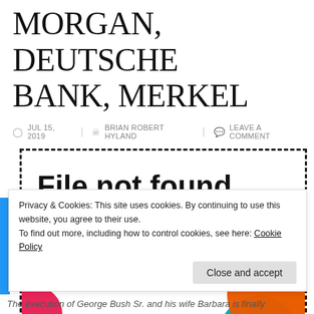MORGAN, DEUTSCHE BANK, MERKEL
JUL 15, 2019  BRIAN ROBERT HYLAND  LEAVE A COMMENT
[Figure (screenshot): A dashed-border box displaying 'File not found' in bold black text, with colorful decorative circles (red/orange, teal, yellow) visible in the bottom-right corner behind and outside the box, and a pink/red partial circle on the bottom-left.]
Privacy & Cookies: This site uses cookies. By continuing to use this website, you agree to their use.
To find out more, including how to control cookies, see here: Cookie Policy
Close and accept
The execution of George Bush Sr. and his wife Barbara is finally